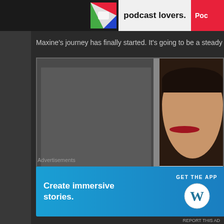[Figure (screenshot): Top advertisement bar showing podcast lovers ad with colorful icon and Pocket branding on dark background]
Maxine’s journey has finally started. It’s going to be a steady climb
[Figure (photo): Video frame showing a smiling woman wearing white formal attire, with dark hair pulled back, red lipstick, in what appears to be a backstage or hallway setting]
Advertisements
[Figure (screenshot): WordPress advertisement banner with blue gradient background reading 'Create immersive stories.' with 'GET THE APP' call to action and WordPress logo]